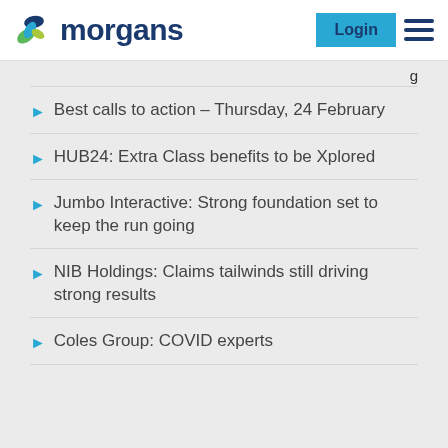[Figure (logo): Morgans financial logo with colorful M icon and dark blue 'morgans' text]
Best calls to action – Thursday, 24 February
HUB24: Extra Class benefits to be Xplored
Jumbo Interactive: Strong foundation set to keep the run going
NIB Holdings: Claims tailwinds still driving strong results
Coles Group: COVID experts